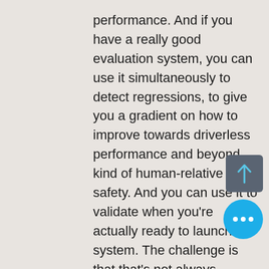performance. And if you have a really good evaluation system, you can use it simultaneously to detect regressions, to give you a gradient on how to improve towards driverless performance and beyond kind of human-relative safety. And you can use it to validate when you're actually ready to launch a system. The challenge is that that's not always obvious how to do that. And in a lot of ways, the sheer, like complexity and dimensionality of this problem makes the evaluation probably one of the holy grails of autonomous driving.
Monte 10:41
Excellent. And so are the evaluation